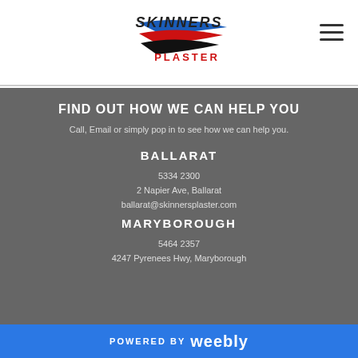[Figure (logo): Skinners Plaster logo with stylized speed lines in blue, red, and black above the word PLASTER in red]
FIND OUT HOW WE CAN HELP YOU
Call, Email or simply pop in to see how we can help you.
BALLARAT
5334 2300
2 Napier Ave, Ballarat
ballarat@skinnersplaster.com
MARYBOROUGH
5464 2357
4247 Pyrenees Hwy, Maryborough
POWERED BY weebly